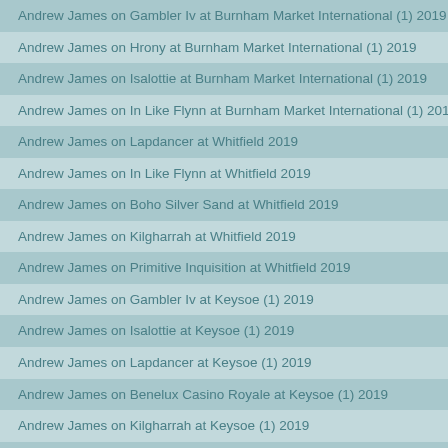Andrew James on Gambler Iv at Burnham Market International (1) 2019
Andrew James on Hrony at Burnham Market International (1) 2019
Andrew James on Isalottie at Burnham Market International (1) 2019
Andrew James on In Like Flynn at Burnham Market International (1) 2019
Andrew James on Lapdancer at Whitfield 2019
Andrew James on In Like Flynn at Whitfield 2019
Andrew James on Boho Silver Sand at Whitfield 2019
Andrew James on Kilgharrah at Whitfield 2019
Andrew James on Primitive Inquisition at Whitfield 2019
Andrew James on Gambler Iv at Keysoe (1) 2019
Andrew James on Isalottie at Keysoe (1) 2019
Andrew James on Lapdancer at Keysoe (1) 2019
Andrew James on Benelux Casino Royale at Keysoe (1) 2019
Andrew James on Kilgharrah at Keysoe (1) 2019
Andrew James on Primitive Inquisition at Keysoe (1) 2019
Andrew James on Xaraymax Blimey O Riley at Keysoe (1) 2019
Andrew James on In Like Flynn at Keysoe (1) 2019
Andrew James on Hrony at Keysoe (1) 2019